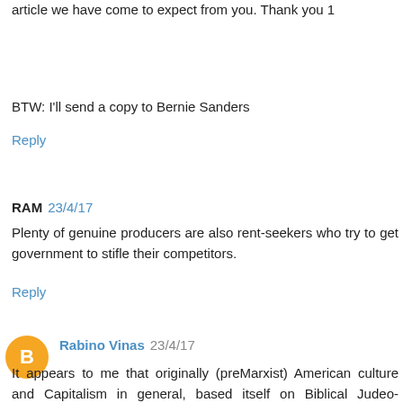article we have come to expect from you. Thank you 1
BTW: I'll send a copy to Bernie Sanders
Reply
RAM 23/4/17
Plenty of genuine producers are also rent-seekers who try to get government to stifle their competitors.
Reply
Rabino Vinas 23/4/17
It appears to me that originally (preMarxist) American culture and Capitalism in general, based itself on Biblical Judeo-Christian values with a sense that the economy is constantly regenerating because of God's bounty. Therefore there was no need to retain or horde or ration the blessing as a statement of faith in this reliable fountain of blessing. There was also no need to believe that resources